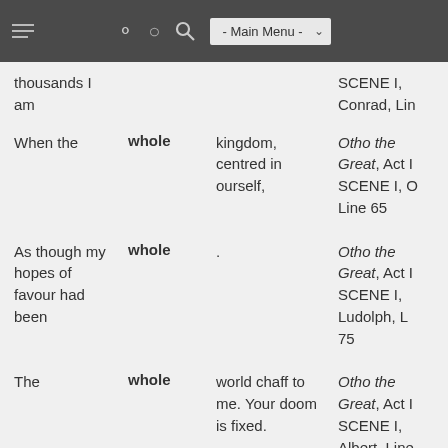- Main Menu -
| Context | Keyword | Following text | Source |
| --- | --- | --- | --- |
| thousands I am |  |  | SCENE I, Conrad, Lin |
| When the | whole | kingdom, centred in ourself, | Otho the Great, Act I, SCENE I, O, Line 65 |
| As though my hopes of favour had been | whole | . | Otho the Great, Act I, SCENE I, Ludolph, L, 75 |
| The | whole | world chaff to me. Your doom is fixed. | Otho the Great, Act I, SCENE I, Albert, Line 157 |